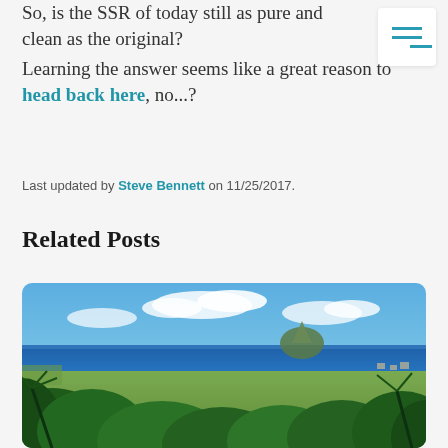So, is the SSR of today still as pure and clean as the original?
Learning the answer seems like a great reason to head back here, no...?
Last updated by Steve Bennett on 11/25/2017.
Related Posts
[Figure (photo): Landscape photo of tropical island scenery with lush green vegetation in foreground, flat agricultural land in middle distance, deep blue sea, and a volcanic island on the horizon under a partly cloudy blue sky.]